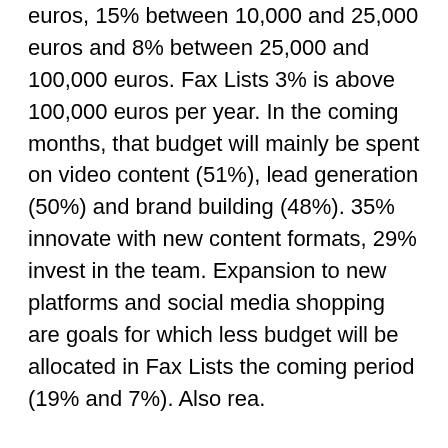euros, 15% between 10,000 and 25,000 euros and 8% between 25,000 and 100,000 euros. Fax Lists 3% is above 100,000 euros per year. In the coming months, that budget will mainly be spent on video content (51%), lead generation (50%) and brand building (48%). 35% innovate with new content formats, 29% invest in the team. Expansion to new platforms and social media shopping are goals for which less budget will be allocated in Fax Lists the coming period (19% and 7%). Also rea.
The Best Times to Post on Facebook, Instagram, Twitter & LinkedIn *Source Fax Lists  Curious about the rest of the results? Social media plays an increasingly important role in many marketing strategies. In this white paper you will find the biggest opportunitiesPresentations are often created in PowerPoint by default. It seems